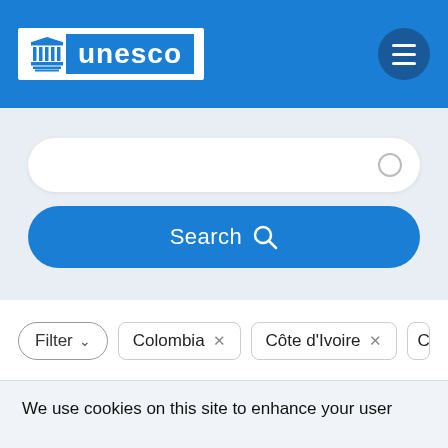[Figure (logo): UNESCO logo with building icon and text on blue header bar with hamburger menu button]
[Figure (screenshot): Search bar with circular icon and blue Search button below]
Filter   Colombia ×   Côte d'Ivoire ×   Cr
Clear all filters
We use cookies on this site to enhance your user